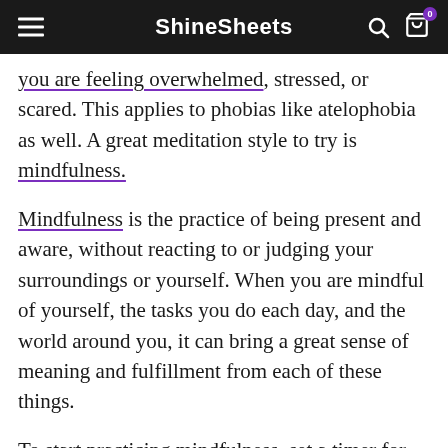ShineSheets
you are feeling overwhelmed, stressed, or scared. This applies to phobias like atelophobia as well. A great meditation style to try is mindfulness.
Mindfulness is the practice of being present and aware, without reacting to or judging your surroundings or yourself. When you are mindful of yourself, the tasks you do each day, and the world around you, it can bring a great sense of meaning and fulfillment from each of these things.
To start practicing mindfulness, set a timer for 10 or even just 5 minutes. You can increase the time as you get better at this meditation.